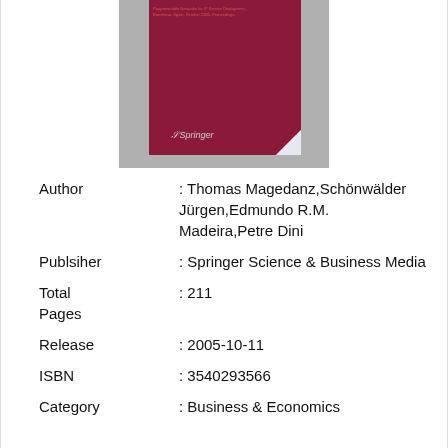[Figure (illustration): Book cover image of a Springer publication with dark red/maroon background, showing the Springer logo in the lower left and a page-curl effect at the bottom right corner. Small red text at the top reads the book title and subtitle about Barcelona, Spain, October 2005, Proceedings.]
Author : Thomas Magedanz,Schönwälder Jürgen,Edmundo R.M. Madeira,Petre Dini
Publsiher : Springer Science & Business Media
Total Pages : 211
Release : 2005-10-11
ISBN : 3540293566
Category : Business & Economics